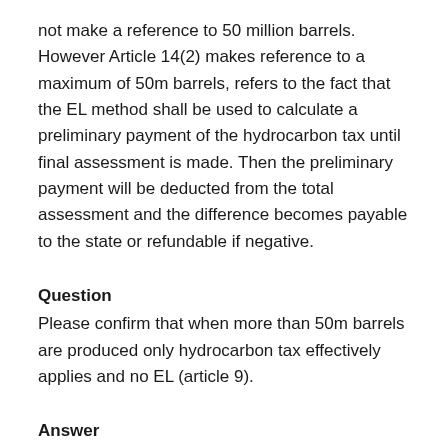not make a reference to 50 million barrels. However Article 14(2) makes reference to a maximum of 50m barrels, refers to the fact that the EL method shall be used to calculate a preliminary payment of the hydrocarbon tax until final assessment is made. Then the preliminary payment will be deducted from the total assessment and the difference becomes payable to the state or refundable if negative.
Question
Please confirm that when more than 50m barrels are produced only hydrocarbon tax effectively applies and no EL (article 9).
Answer
As referred to in the previous question, the 50m barrels provision is only a method to calculate the preliminary